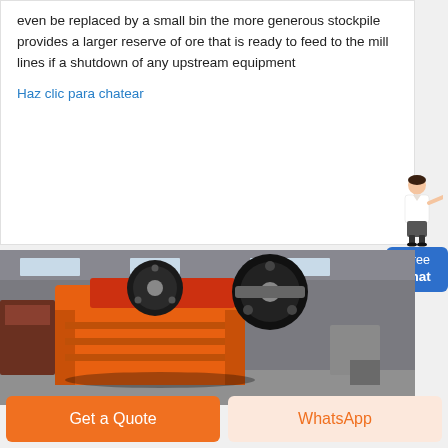even be replaced by a small bin the more generous stockpile provides a larger reserve of ore that is ready to feed to the mill lines if a shutdown of any upstream equipment
Haz clic para chatear
[Figure (illustration): A chat assistant widget showing a woman in business attire pointing, with a blue 'Free chat' button below]
[Figure (photo): Industrial orange jaw crusher machine with large black flywheels, photographed inside a manufacturing facility]
Get a Quote
WhatsApp